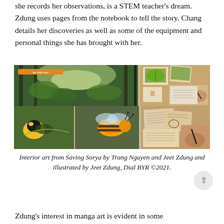she records her observations, is a STEM teacher's dream. Zdung uses pages from the notebook to tell the story. Chang details her discoveries as well as some of the equipment and personal things she has brought with her.
[Figure (illustration): Interior art collage from Saving Sorya showing rainforest scenes, insects, birds, and nature journal pages illustrated by Jeet Zdung]
Interior art from Saving Sorya by Trang Nguyen and Jeet Zdung and illustrated by Jeet Zdung, Dial BYR ©2021.
Zdung's interest in manga art is evident in some